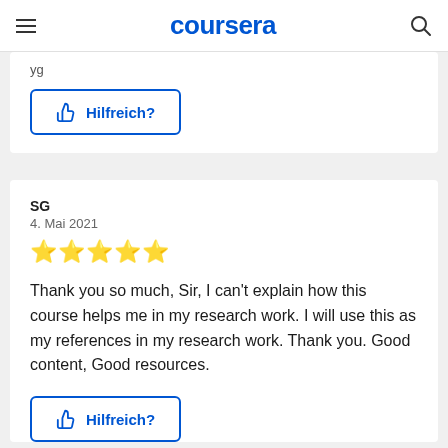coursera
yg
Hilfreich?
SG
4. Mai 2021
★★★★★
Thank you so much, Sir, I can't explain how this course helps me in my research work. I will use this as my references in my research work. Thank you. Good content, Good resources.
Hilfreich?